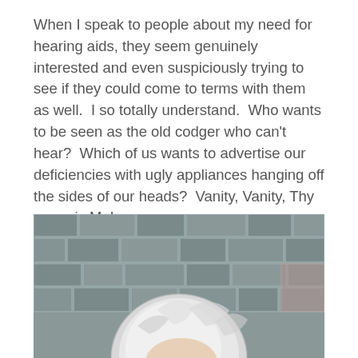When I speak to people about my need for hearing aids, they seem genuinely interested and even suspiciously trying to see if they could come to terms with them as well.  I so totally understand.  Who wants to be seen as the old codger who can't hear?  Which of us wants to advertise our deficiencies with ugly appliances hanging off the sides of our heads?  Vanity, Vanity, Thy name is Me!
[Figure (photo): Person with short white/silver hair photographed from behind against a stone brick wall background]